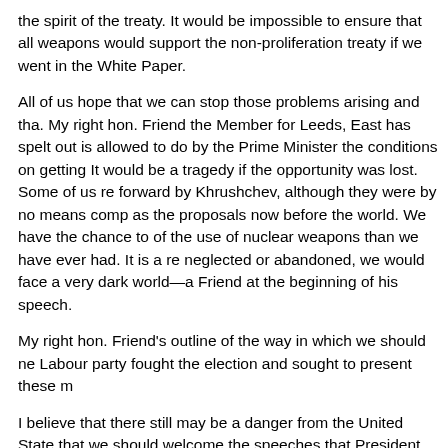the spirit of the treaty. It would be impossible to ensure that all weapons would support the non-proliferation treaty if we went in the White Paper.
All of us hope that we can stop those problems arising and that. My right hon. Friend the Member for Leeds, East has spelt out is allowed to do by the Prime Minister the conditions on getting It would be a tragedy if the opportunity was lost. Some of us re forward by Khrushchev, although they were by no means comp as the proposals now before the world. We have the chance to of the use of nuclear weapons than we have ever had. It is a re neglected or abandoned, we would face a very dark world—a w Friend at the beginning of his speech.
My right hon. Friend's outline of the way in which we should ne Labour party fought the election and sought to present these m
I believe that there still may be a danger from the United State that we should welcome the speeches that President Reagan h does not alter the fact that there are considerable forces in the similar elements in the Soviet Union, who do not want to see a